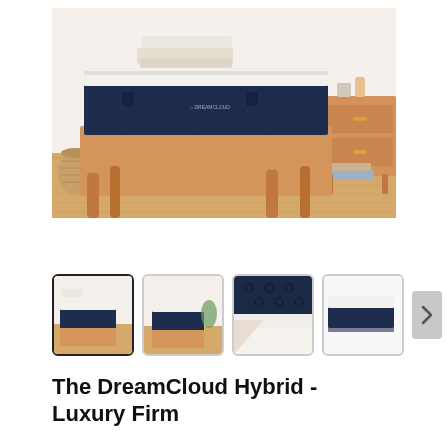[Figure (photo): A DreamCloud Hybrid mattress on a wooden bed frame in a styled bedroom with a nightstand, pillow stack on mattress, and woven basket decoration.]
[Figure (photo): Thumbnail 1: DreamCloud mattress on wooden bed frame, room view – selected/active thumbnail.]
[Figure (photo): Thumbnail 2: DreamCloud mattress on wooden bed frame, slightly different angle.]
[Figure (photo): Thumbnail 3: Close-up corner detail of DreamCloud mattress showing navy blue quilted edge.]
[Figure (photo): Thumbnail 4: DreamCloud mattress lying flat, top-down or side view.]
The DreamCloud Hybrid - Luxury Firm